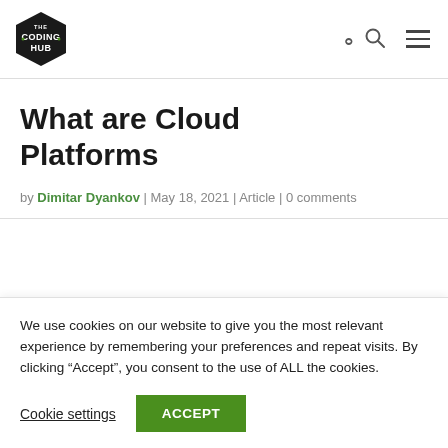[Figure (logo): The Coding Hub logo — black hexagon badge with white bold text 'THE CODING HUB']
What are Cloud Platforms
by Dimitar Dyankov | May 18, 2021 | Article | 0 comments
We use cookies on our website to give you the most relevant experience by remembering your preferences and repeat visits. By clicking “Accept”, you consent to the use of ALL the cookies.
Cookie settings  ACCEPT